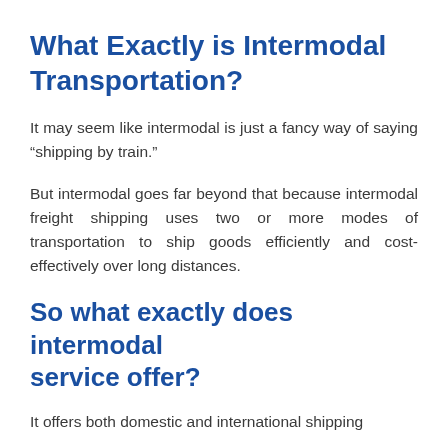What Exactly is Intermodal Transportation?
It may seem like intermodal is just a fancy way of saying “shipping by train.”
But intermodal goes far beyond that because intermodal freight shipping uses two or more modes of transportation to ship goods efficiently and cost-effectively over long distances.
So what exactly does intermodal service offer?
It offers both domestic and international shipping and long-distance transport of goods with...